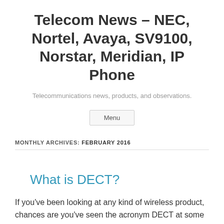Telecom News – NEC, Nortel, Avaya, SV9100, Norstar, Meridian, IP Phone
Telecommunications news, products, and observations.
Menu
MONTHLY ARCHIVES: FEBRUARY 2016
What is DECT?
If you've been looking at any kind of wireless product, chances are you've seen the acronym DECT at some point.